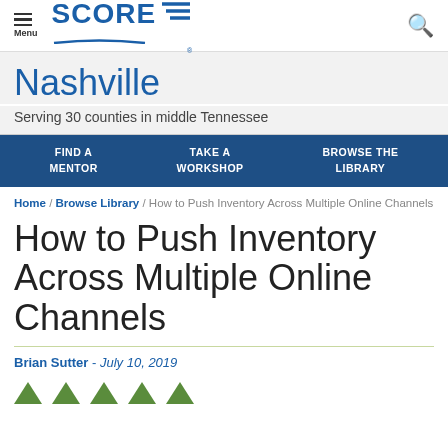SCORE — Nashville chapter header with navigation
Nashville
Serving 30 counties in middle Tennessee
FIND A MENTOR / TAKE A WORKSHOP / BROWSE THE LIBRARY
Home / Browse Library / How to Push Inventory Across Multiple Online Channels
How to Push Inventory Across Multiple Online Channels
Brian Sutter - July 10, 2019